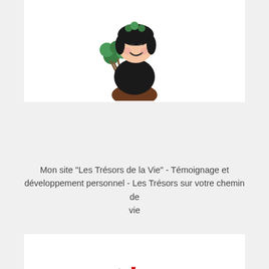[Figure (illustration): Cartoon illustration of a character with dark hair holding green items, shown partially at top of white card]
Mon site "Les Trésors de la Vie" - Témoignage et développement personnel - Les Trésors sur votre chemin de vie
[Figure (illustration): Cartoon illustration of a smiling girl with dark hair, wearing a red top, sitting on a globe with green trees/nature, surrounded by hearts and music notes, with a yellow glow]